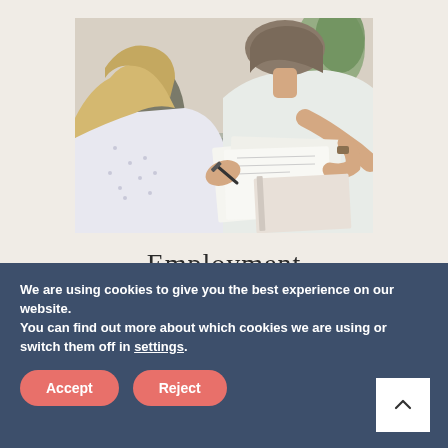[Figure (photo): Two women sitting at a desk reviewing documents. One is signing papers with a pen, the other is pointing at the document. Papers and a binder are spread on the table.]
Employment
We are using cookies to give you the best experience on our website.
You can find out more about which cookies we are using or switch them off in settings.